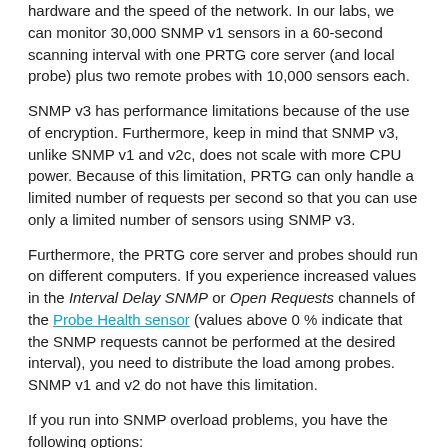hardware and the speed of the network. In our labs, we can monitor 30,000 SNMP v1 sensors in a 60-second scanning interval with one PRTG core server (and local probe) plus two remote probes with 10,000 sensors each.
SNMP v3 has performance limitations because of the use of encryption. Furthermore, keep in mind that SNMP v3, unlike SNMP v1 and v2c, does not scale with more CPU power. Because of this limitation, PRTG can only handle a limited number of requests per second so that you can use only a limited number of sensors using SNMP v3.
Furthermore, the PRTG core server and probes should run on different computers. If you experience increased values in the Interval Delay SNMP or Open Requests channels of the Probe Health sensor (values above 0 % indicate that the SNMP requests cannot be performed at the desired interval), you need to distribute the load among probes. SNMP v1 and v2 do not have this limitation.
If you run into SNMP overload problems, you have the following options:
Increase the scanning interval of the SNMP v3 sensors.
Distribute the SNMP v3 sensors among two or more probes.
Evenly distribute the SNMP v3 sensors on your devices (about 10 to 100 sensors per device).